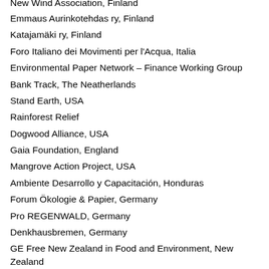New Wind Association, Finland
Emmaus Aurinkotehdas ry, Finland
Katajamäki ry, Finland
Foro Italiano dei Movimenti per l'Acqua, Italia
Environmental Paper Network – Finance Working Group
Bank Track, The Neatherlands
Stand Earth, USA
Rainforest Relief
Dogwood Alliance, USA
Gaia Foundation, England
Mangrove Action Project, USA
Ambiente Desarrollo y Capacitación, Honduras
Forum Ökologie & Papier, Germany
Pro REGENWALD, Germany
Denkhausbremen, Germany
GE Free New Zealand in Food and Environment, New Zealand